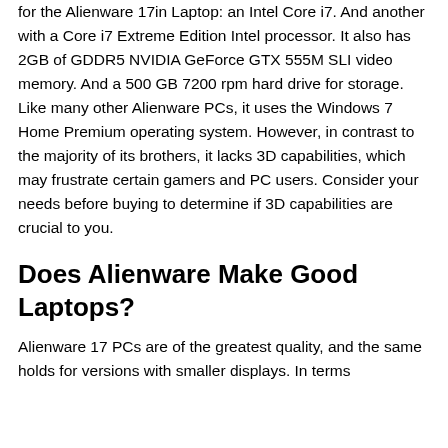for the Alienware 17in Laptop: an Intel Core i7. And another with a Core i7 Extreme Edition Intel processor. It also has 2GB of GDDR5 NVIDIA GeForce GTX 555M SLI video memory. And a 500 GB 7200 rpm hard drive for storage. Like many other Alienware PCs, it uses the Windows 7 Home Premium operating system. However, in contrast to the majority of its brothers, it lacks 3D capabilities, which may frustrate certain gamers and PC users. Consider your needs before buying to determine if 3D capabilities are crucial to you.
Does Alienware Make Good Laptops?
Alienware 17 PCs are of the greatest quality, and the same holds for versions with smaller displays. In terms